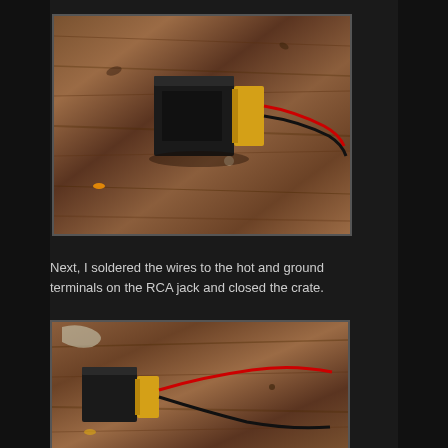[Figure (photo): A small black electronic component/crate with a yellow connector and red and black wires, sitting on a worn wooden surface]
Next, I soldered the wires to the hot and ground terminals on the RCA jack and closed the crate.
[Figure (photo): The same black electronic component with yellow connector, now showing the red and black wires soldered and connected, on a wooden surface]